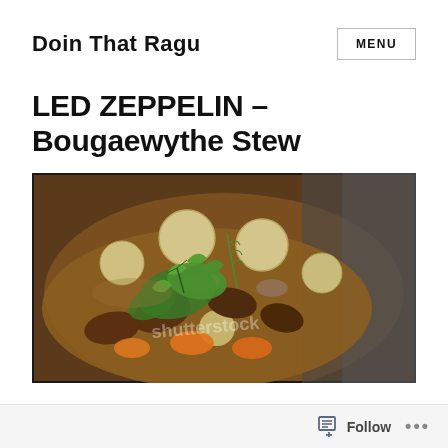Doin That Ragu
LED ZEPPELIN – Bougaewythe Stew
[Figure (photo): A photo of a hearty stew in a dark cast iron pan, featuring baby potatoes, chunks of meat, sliced carrots, mushrooms, and garnished with fresh parsley/cilantro in a rich brown broth. Shutterstock watermark visible.]
Follow ...